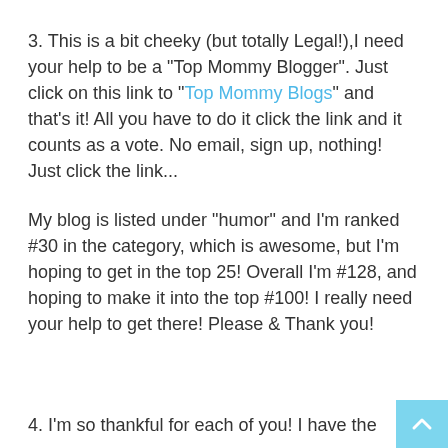3. This is a bit cheeky (but totally Legal!),I need your help to be a "Top Mommy Blogger". Just click on this link to "Top Mommy Blogs" and that's it! All you have to do it click the link and it counts as a vote. No email, sign up, nothing! Just click the link...
My blog is listed under "humor" and I'm ranked #30 in the category, which is awesome, but I'm hoping to get in the top 25! Overall I'm #128, and hoping to make it into the top #100! I really need your help to get there! Please & Thank you!
4. I'm so thankful for each of you! I have the